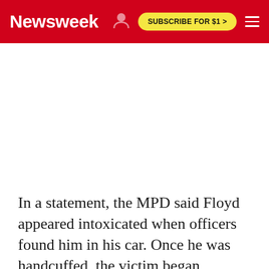Newsweek | SUBSCRIBE FOR $1 >
[Figure (other): White advertisement placeholder area below the navigation header]
In a statement, the MPD said Floyd appeared intoxicated when officers found him in his car. Once he was handcuffed, the victim began showing symptoms of "medical distress," which